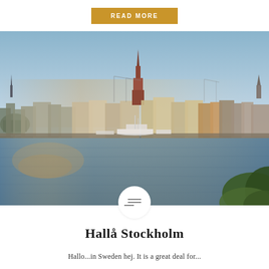READ MORE
[Figure (photo): Panoramic view of Stockholm waterfront at sunset/dusk. A city skyline with historic buildings, a tall red-brick church spire in the center, cranes in the background, and calm water in the foreground with a white sailing vessel moored at the quay. Greenery visible at bottom right.]
Hallå Stockholm
Hallo...in Sweden hej. It is a great deal for...